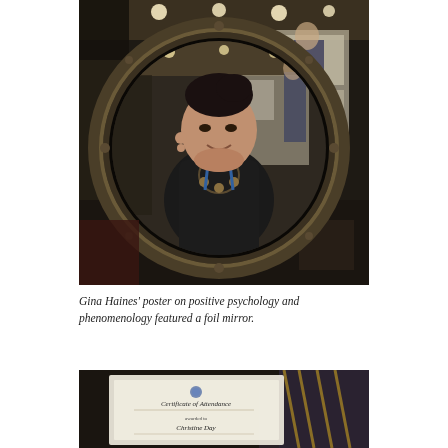[Figure (photo): A woman reflected in a circular foil mirror at an academic conference poster session. The reflection shows her wearing a dark blazer and necklace, with conference posters and other attendees visible in the background.]
Gina Haines' poster on positive psychology and phenomenology featured a foil mirror.
[Figure (photo): A Certificate of Attendance partially visible, with 'Christine Day' visible as the recipient name, held or placed on a chair at a conference.]